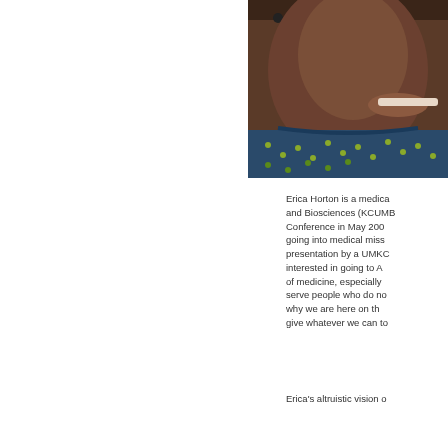[Figure (photo): Close-up photo of a person (Erica Horton), cropped showing face/neck and top of shoulders, wearing a colorful patterned garment. The image is partially cut off on the right side.]
Erica Horton is a medica... and Biosciences (KCUMB... Conference in May 200... going into medical miss... presentation by a UMKC... interested in going to A... of medicine, especially ... serve people who do n... why we are here on th... give whatever we can to...
Erica's altruistic vision o...